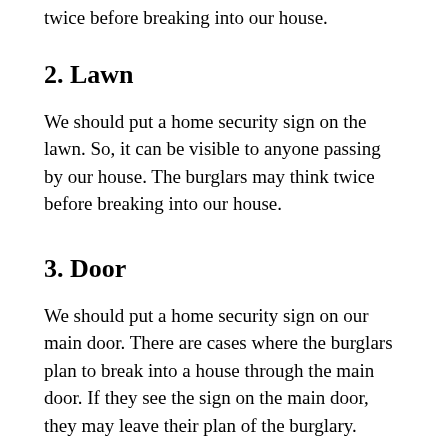twice before breaking into our house.
2. Lawn
We should put a home security sign on the lawn. So, it can be visible to anyone passing by our house. The burglars may think twice before breaking into our house.
3. Door
We should put a home security sign on our main door. There are cases where the burglars plan to break into a house through the main door. If they see the sign on the main door, they may leave their plan of the burglary.